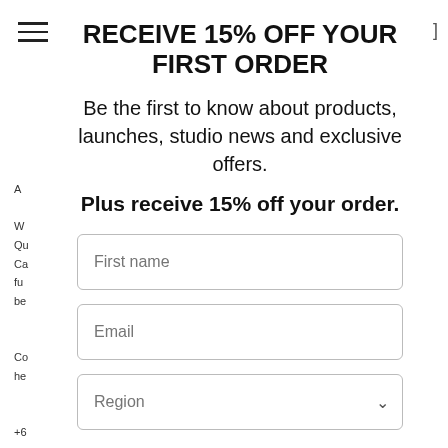RECEIVE 15% OFF YOUR FIRST ORDER
Be the first to know about products, launches, studio news and exclusive offers.
Plus receive 15% off your order.
First name
Email
Region